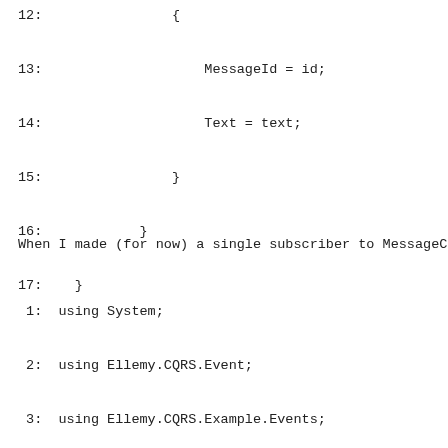12:                {
13:                    MessageId = id;
14:                    Text = text;
15:                }
16:            }
17:    }
When I made (for now) a single subscriber to MessageCreat
1:  using System;
 2:  using Ellemy.CQRS.Event;
 3:  using Ellemy.CQRS.Example.Events;
 4:
 5:  namespace Ellemy.CQRS.Example.Query